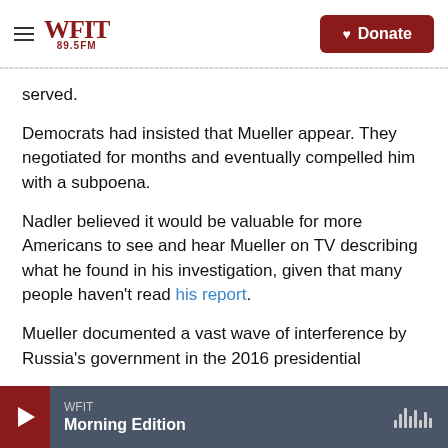WFIT 89.5FM | Donate
served.
Democrats had insisted that Mueller appear. They negotiated for months and eventually compelled him with a subpoena.
Nadler believed it would be valuable for more Americans to see and hear Mueller on TV describing what he found in his investigation, given that many people haven't read his report.
Mueller documented a vast wave of interference by Russia's government in the 2016 presidential
WFIT — Morning Edition